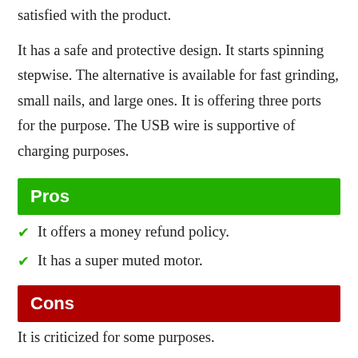satisfied with the product.
It has a safe and protective design. It starts spinning stepwise. The alternative is available for fast grinding, small nails, and large ones. It is offering three ports for the purpose. The USB wire is supportive of charging purposes.
Pros
It offers a money refund policy.
It has a super muted motor.
Cons